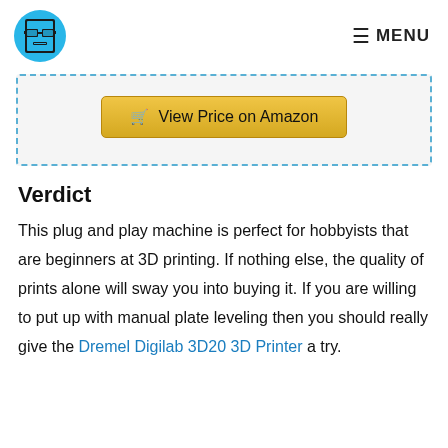MENU
[Figure (logo): Pixel art face with glasses on a blue circle background]
[Figure (other): View Price on Amazon button inside a dashed border box]
Verdict
This plug and play machine is perfect for hobbyists that are beginners at 3D printing. If nothing else, the quality of prints alone will sway you into buying it. If you are willing to put up with manual plate leveling then you should really give the Dremel Digilab 3D20 3D Printer a try.